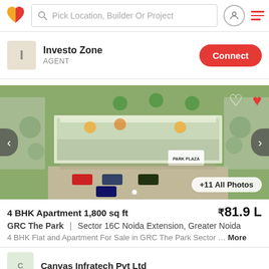Pick Location, Builder Or Project
Investo Zone
AGENT
Connect
[Figure (photo): Aerial/bird's eye view of a residential/commercial property complex with parking, gardens, palm trees, and a building labeled 'PARK PLAZA'. Navigation arrows on sides, heart icons top-right, +11 All Photos badge bottom-right.]
4 BHK Apartment 1,800 sq ft
₹81.9 L
GRC The Park  |  Sector 16C Noida Extension, Greater Noida
4 BHK Flat and Apartment For Sale in GRC The Park Sector ... More
Canvas Infratech Pvt Ltd